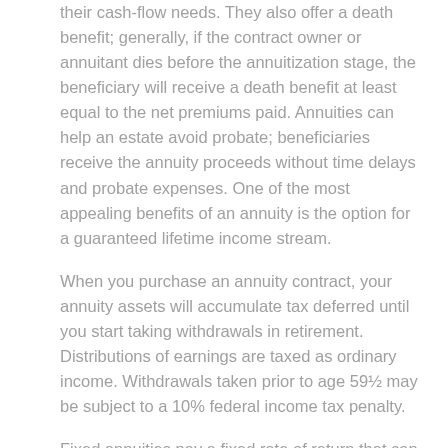their cash-flow needs. They also offer a death benefit; generally, if the contract owner or annuitant dies before the annuitization stage, the beneficiary will receive a death benefit at least equal to the net premiums paid. Annuities can help an estate avoid probate; beneficiaries receive the annuity proceeds without time delays and probate expenses. One of the most appealing benefits of an annuity is the option for a guaranteed lifetime income stream.
When you purchase an annuity contract, your annuity assets will accumulate tax deferred until you start taking withdrawals in retirement. Distributions of earnings are taxed as ordinary income. Withdrawals taken prior to age 59½ may be subject to a 10% federal income tax penalty.
Fixed annuities pay a fixed rate of return that can start right away (with an immediate fixed annuity) or can be postponed to a future date (with a deferred fixed annuity). Although the rate on a fixed annuity